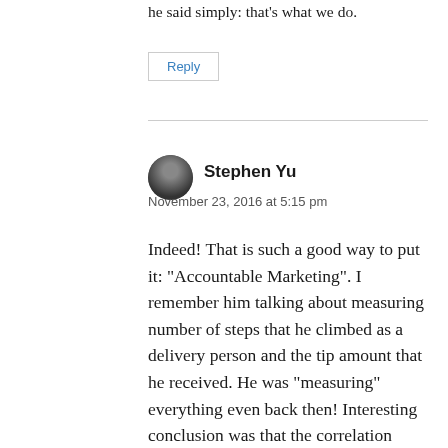he said simply: that’s what we do.
Reply
Stephen Yu
November 23, 2016 at 5:15 pm
Indeed! That is such a good way to put it: “Accountable Marketing”. I remember him talking about measuring number of steps that he climbed as a delivery person and the tip amount that he received. He was “measuring” everything even back then! Interesting conclusion was that the correlation looked like a reverse-bell-curve thanks to the income factor for the